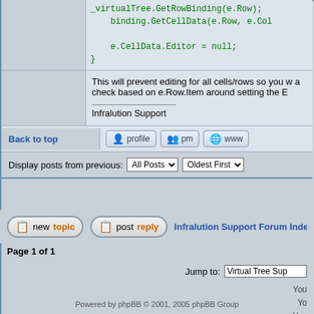_virtualTree.GetRowBinding(e.Row);
        binding.GetCellData(e.Row, e.Col

        e.CellData.Editor = null;
}
This will prevent editing for all cells/rows so you w a check based on e.Row.Item around setting the E
Infralution Support
Back to top
Display posts from previous: All Posts  Oldest First
Infralution Support Forum Index -> Virtual Tre
Page 1 of 1
Jump to: Virtual Tree Sup
You
Yo
You
You c
Powered by phpBB © 2001, 2005 phpBB Group